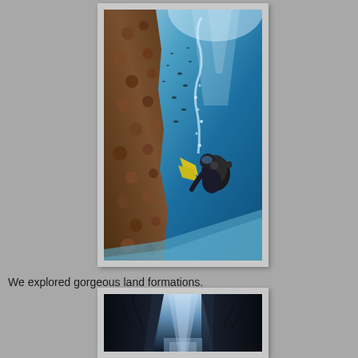[Figure (photo): Underwater scuba diver swimming near a coral reef wall with blue water and small fish in the background, bubbles rising toward the surface]
We explored gorgeous land formations.
[Figure (photo): Narrow canyon or gorge with light streaming down from above between dark rocky walls]